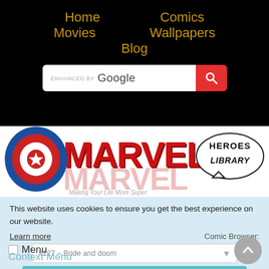Home  Comics
Movies  Wallpapers
Blog
[Figure (screenshot): Google enhanced search bar with red search button]
[Figure (logo): Marvel Heroes Library logo with Captain America shield, bold red MARVEL text and comic-style speech bubble reading HEROES LIBRARY]
This website uses cookies to ensure you get the best experience on our website.
Learn more
Comic Browser:
#127 – Bride and doom
Got it!
Menu
Context Menu